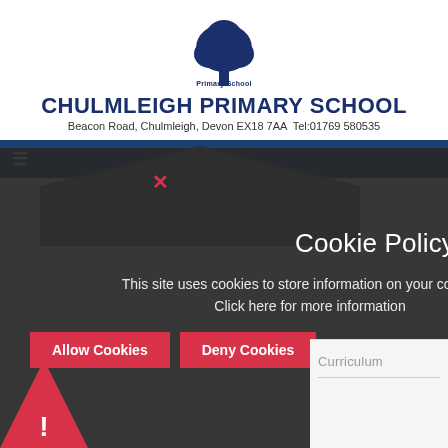[Figure (logo): Chulmleigh Primary School logo with tree emblem in dark blue]
CHULMLEIGH PRIMARY SCHOOL
Beacon Road, Chulmleigh, Devon EX18 7AA  Tel:01769 580535
[Figure (screenshot): Dark cookie policy modal overlay with close X button, title 'Cookie Policy', descriptive text, and two red buttons: Allow Cookies and Deny Cookies. Bottom left shows a red alert icon. Bottom right shows a Curriculum label.]
Cookie Policy
This site uses cookies to store information on your computer. Click here for more information
Allow Cookies
Deny Cookies
Curriculum